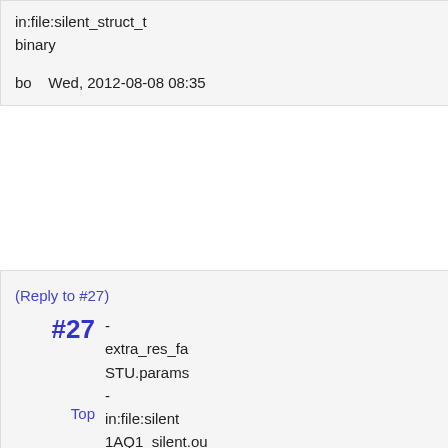in:file:silent_struct_t binary
bo    Wed, 2012-08-08 08:35
(Reply to #27)
#27
- extra_res_fa STU.params
Top
- in:file:silent 1AQ1_silent.ou -out:pdb - in:file:silent_str binary
As arguments to score_jd2